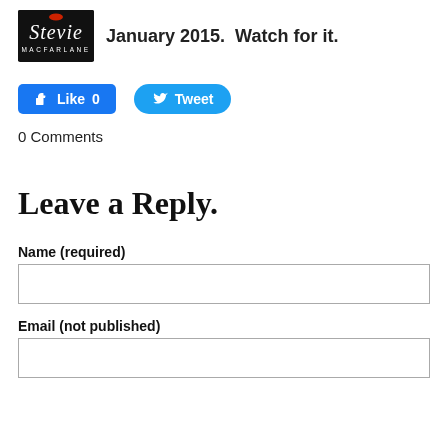January 2015.  Watch for it.
[Figure (screenshot): Facebook Like button showing '0' likes and Twitter Tweet button]
0 Comments
Leave a Reply.
Name (required)
Email (not published)